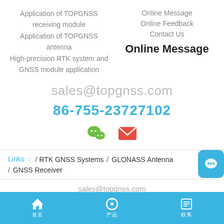Application of TOPGNSS receiving module
Application of TOPGNSS antenna
High-precision RTK system and GNSS module application
Online Message
Online Feedback
Contact Us
Online Message
sales@topgnss.com
86-755-23727102
[Figure (infographic): WeChat and email social icons]
Links : / RTK GNSS Systems / GLONASS Antenna / GNSS Receiver
sales@topgnss.com
Home | 首页 | Products | 产品 | Contact | 联系